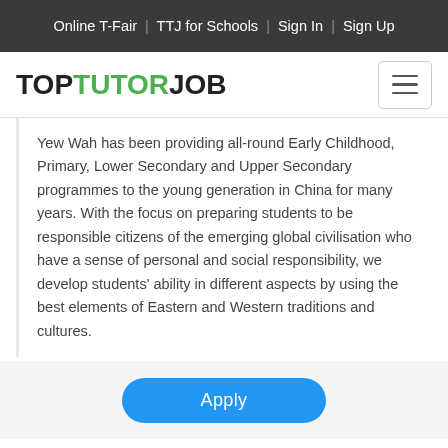Online T-Fair | TTJ for Schools | Sign In | Sign Up
[Figure (logo): TopTutorJob logo with hamburger menu icon]
Yew Wah has been providing all-round Early Childhood, Primary, Lower Secondary and Upper Secondary programmes to the young generation in China for many years. With the focus on preparing students to be responsible citizens of the emerging global civilisation who have a sense of personal and social responsibility, we develop students' ability in different aspects by using the best elements of Eastern and Western traditions and cultures.
Apply